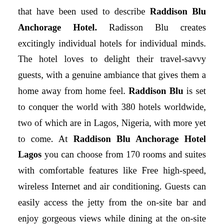that have been used to describe Raddison Blu Anchorage Hotel. Radisson Blu creates excitingly individual hotels for individual minds. The hotel loves to delight their travel-savvy guests, with a genuine ambiance that gives them a home away from home feel. Raddison Blu is set to conquer the world with 380 hotels worldwide, two of which are in Lagos, Nigeria, with more yet to come. At Raddison Blu Anchorage Hotel Lagos you can choose from 170 rooms and suites with comfortable features like Free high-speed, wireless Internet and air conditioning. Guests can easily access the jetty from the on-site bar and enjoy gorgeous views while dining at the on-site restaurants. Fitness and event facilities are also available.